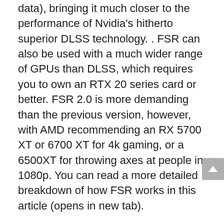data), bringing it much closer to the performance of Nvidia's hitherto superior DLSS technology. . FSR can also be used with a much wider range of GPUs than DLSS, which requires you to own an RTX 20 series card or better. FSR 2.0 is more demanding than the previous version, however, with AMD recommending an RX 5700 XT or 6700 XT for 4k gaming, or a 6500XT for throwing axes at people in 1080p. You can read a more detailed breakdown of how FSR works in this article (opens in new tab).
I'm a big fan of upscaling technology. With graphics cards still being insanely expensive (although you can buy them now, which is something), DLSS and FSR can help extend the life of your current rig – particularly the